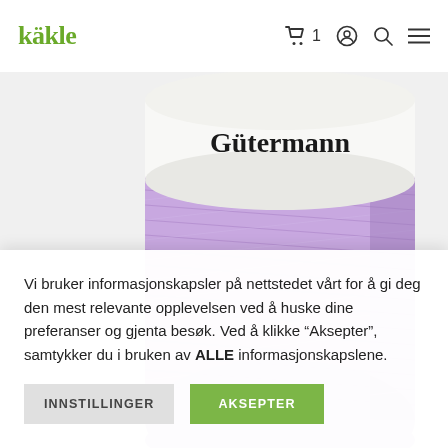[Figure (screenshot): Kakle e-commerce website header with green logo 'kakle', shopping cart icon with '1', user account icon, search icon, and hamburger menu icon on white background]
[Figure (photo): A spool of Gütermann thread in lavender/purple color. The spool has a white label at the top showing the brand name 'Gütermann' in large serif font. The thread is wound around a cylindrical spool and appears to be a light purple/lavender color.]
Vi bruker informasjonskapsler på nettstedet vårt for å gi deg den mest relevante opplevelsen ved å huske dine preferanser og gjenta besøk. Ved å klikke "Aksepter", samtykker du i bruken av ALLE informasjonskapslene.
INNSTILLINGER
AKSEPTER